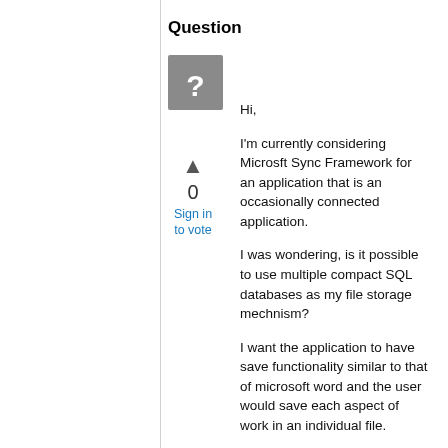Question
[Figure (other): Gray square icon with white question mark]
▲
0
Sign in to vote
Hi,
I'm currently considering Microsft Sync Framework for an application that is an occasionally connected application.
I was wondering, is it possible to use multiple compact SQL databases as my file storage mechnism?
I want the application to have save functionality similar to that of microsoft word and the user would save each aspect of work in an individual file.